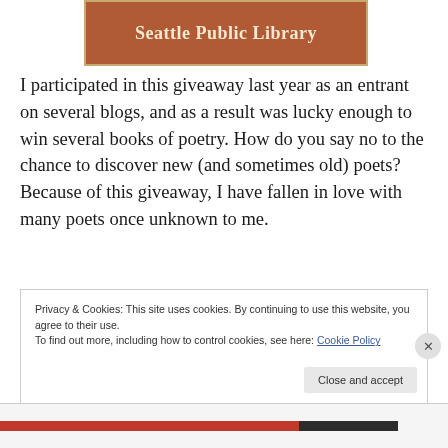[Figure (logo): Seattle Public Library logo — brown/terracotta banner with cream text]
I participated in this giveaway last year as an entrant on several blogs, and as a result was lucky enough to win several books of poetry. How do you say no to the chance to discover new (and sometimes old) poets? Because of this giveaway, I have fallen in love with many poets once unknown to me.
Privacy & Cookies: This site uses cookies. By continuing to use this website, you agree to their use.
To find out more, including how to control cookies, see here: Cookie Policy
Close and accept